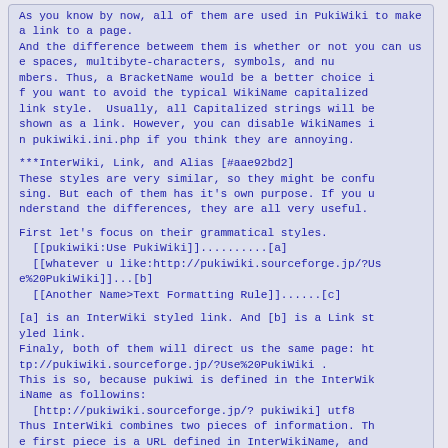As you know by now, all of them are used in PukiWiki to make a link to a page.
And the difference betweem them is whether or not you can use spaces, multibyte-characters, symbols, and numbers. Thus, a BracketName would be a better choice if you want to avoid the typical WikiName capitalized link style.  Usually, all Capitalized strings will be shown as a link. However, you can disable WikiNames in pukiwiki.ini.php if you think they are annoying.
***InterWiki, Link, and Alias [#aae92bd2]
These styles are very similar, so they might be confusing. But each of them has it's own purpose. If you understand the differences, they are all very useful.
First let's focus on their grammatical styles.
  [[pukiwiki:Use PukiWiki]]..........[a]
  [[whatever u like:http://pukiwiki.sourceforge.jp/?Use%20PukiWiki]]...[b]
  [[Another Name>Text Formatting Rule]]......[c]
[a] is an InterWiki styled link. And [b] is a Link styled link.
Finaly, both of them will direct us the same page: http://pukiwiki.sourceforge.jp/?Use%20PukiWiki .
This is so, because pukiwi is defined in the InterWikiName as followins:
  [http://pukiwiki.sourceforge.jp/? pukiwiki] utf8
Thus InterWiki combines two pieces of information. The first piece is a URL defined in InterWikiName, and